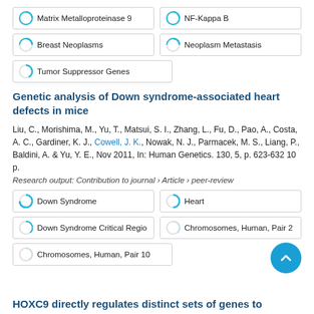Matrix Metalloproteinase 9
NF-Kappa B
Breast Neoplasms
Neoplasm Metastasis
Tumor Suppressor Genes
Genetic analysis of Down syndrome-associated heart defects in mice
Liu, C., Morishima, M., Yu, T., Matsui, S. I., Zhang, L., Fu, D., Pao, A., Costa, A. C., Gardiner, K. J., Cowell, J. K., Nowak, N. J., Parmacek, M. S., Liang, P., Baldini, A. &Yu, Y. E., Nov 2011, In: Human Genetics. 130, 5, p. 623-632 10 p.
Research output: Contribution to journal › Article › peer-review
Down Syndrome
Heart
Down Syndrome Critical Regio
Chromosomes, Human, Pair 2
Chromosomes, Human, Pair 10
HOXC9 directly regulates distinct sets of genes to